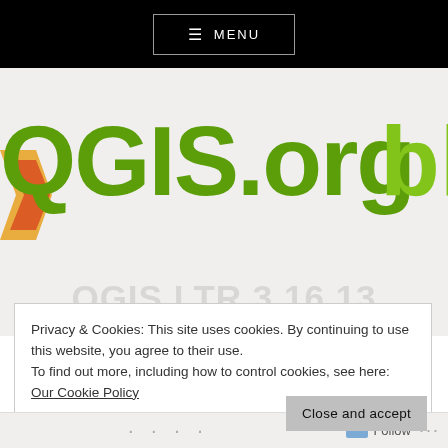≡ MENU
[Figure (logo): QGIS.org blog logo on light grey background with QGIS arrow icon]
Privacy & Cookies: This site uses cookies. By continuing to use this website, you agree to their use.
To find out more, including how to control cookies, see here: Our Cookie Policy
Close and accept
· · · · Follow ···